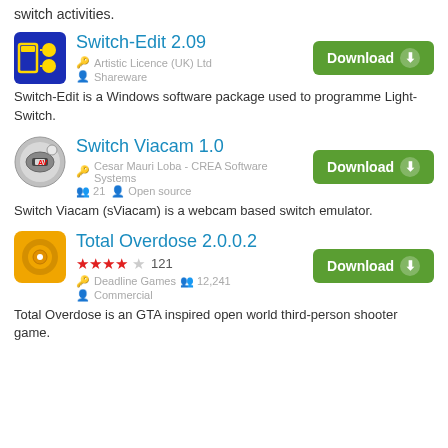switch activities.
Switch-Edit 2.09
Artistic Licence (UK) Ltd  Shareware
Switch-Edit is a Windows software package used to programme Light-Switch.
Switch Viacam 1.0
Cesar Mauri Loba - CREA Software Systems  21  Open source
Switch Viacam (sViacam) is a webcam based switch emulator.
Total Overdose 2.0.0.2
★★★★☆ 121  Deadline Games  12,241  Commercial
Total Overdose is an GTA inspired open world third-person shooter game.